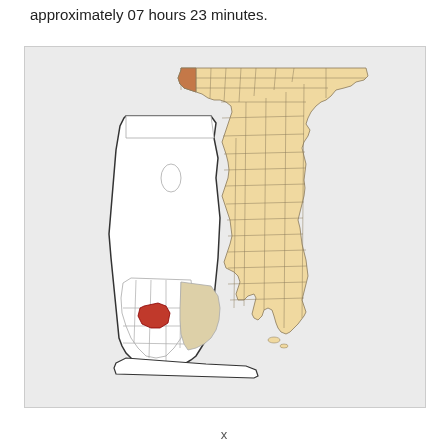approximately 07 hours 23 minutes.
[Figure (map): Map showing the state of Florida with counties outlined. The northwestern-most county (Escambia County) is highlighted in brownish-orange on the Florida state overview map. A zoomed-in inset shows Escambia County in detail with its subdivisions outlined; a red highlighted area marks a specific city/town within the county, and a tan/beige shaded area shows an adjacent region.]
x